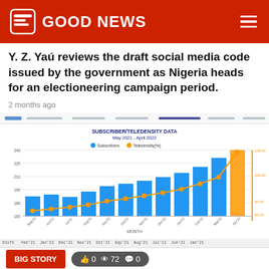GOOD NEWS
Y. Z. Yaú reviews the draft social media code issued by the government as Nigeria heads for an electioneering campaign period.
2 months ago
[Figure (bar-chart): SUBSCRIBER/TELEDENSITY DATA May 2021 - April 2022]
BIG STORY  👍 0  👁 72  💬 0